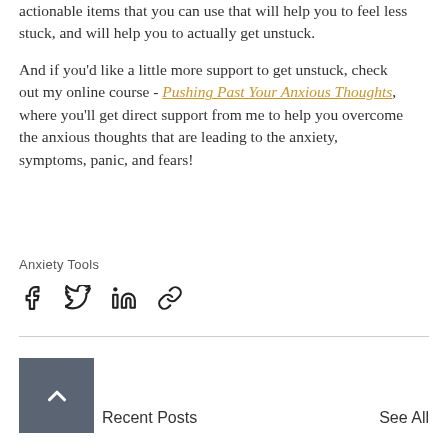actionable items that you can use that will help you to feel less stuck, and will help you to actually get unstuck.

And if you'd like a little more support to get unstuck, check out my online course - Pushing Past Your Anxious Thoughts, where you'll get direct support from me to help you overcome the anxious thoughts that are leading to the anxiety, symptoms, panic, and fears!
Anxiety Tools
[Figure (infographic): Social sharing icons: Facebook, Twitter, LinkedIn, and a link/chain icon]
[Figure (infographic): Recent Posts thumbnail with an upward arrow chevron icon on a grey square background, labeled 'Recent Posts' with a 'See All' link on the right]